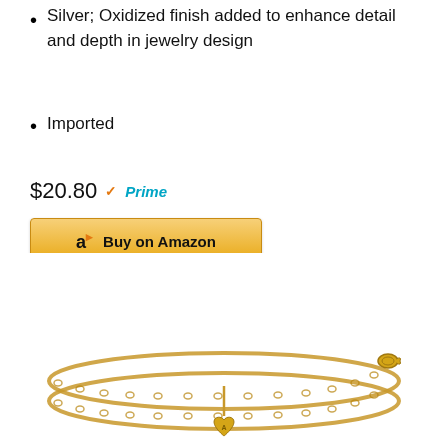Silver; Oxidized finish added to enhance detail and depth in jewelry design
Imported
$20.80 Prime
[Figure (other): Buy on Amazon button with Amazon logo]
[Figure (photo): Gold-tone double-strand chain bracelet with small heart charm engraved with letter A, shown on white background]